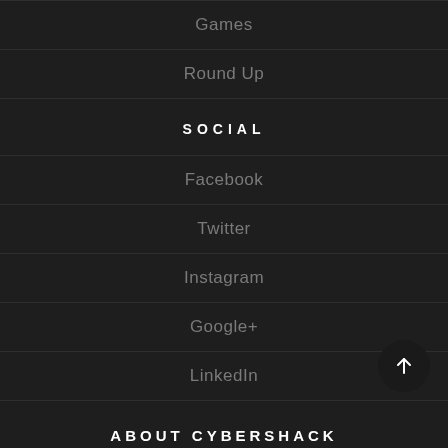Games
Round Up
SOCIAL
Facebook
Twitter
Instagram
Google+
LinkedIn
ABOUT CYBERSHACK